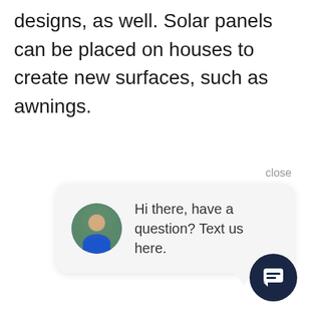designs, as well. Solar panels can be placed on houses to create new surfaces, such as awnings.
close
[Figure (screenshot): Chat widget popup showing a circular avatar photo of a man in a blue shirt and the message 'Hi there, have a question? Text us here.' with a dark navy chat button icon in the bottom right corner.]